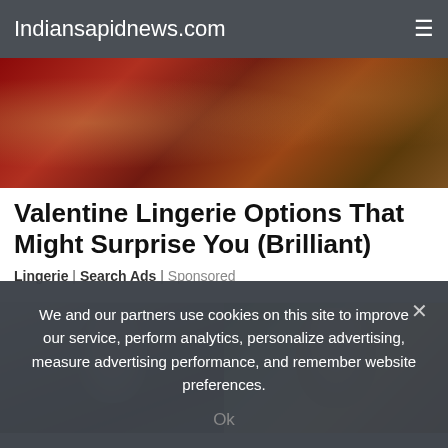Indiansapidnews.com
[Figure (photo): Hero image showing lingerie items with red fabric background, gold and leopard print accessories]
Valentine Lingerie Options That Might Surprise You (Brilliant)
Lingerie | Search Ads | Sponsored
[Figure (photo): Two side-by-side photos: left is a black and white portrait of a young blonde woman with hair up; right is a color photo of a smiling blonde woman outdoors with greenery in background]
We and our partners use cookies on this site to improve our service, perform analytics, personalize advertising, measure advertising performance, and remember website preferences.
Ok